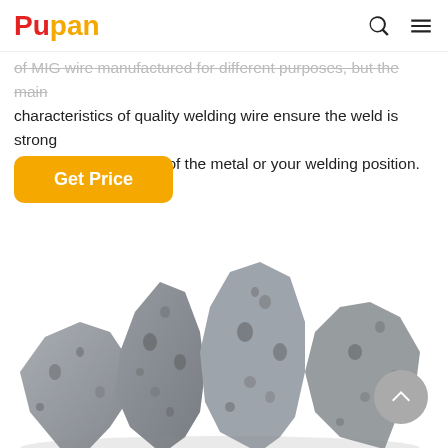Pupan [logo] with search and menu icons
of MIG wire manufactured for different purposes, but the main characteristics of quality welding wire ensure the weld is strong and sound regardless of the metal or your welding position.
[Figure (screenshot): Orange 'Get Price' button]
[Figure (screenshot): Blue 'Free Chat' widget with chat bubble icon]
[Figure (photo): Photograph of rough rocky mineral chunks (slag or ore) on white background]
[Figure (other): Grey circular scroll-to-top arrow button]